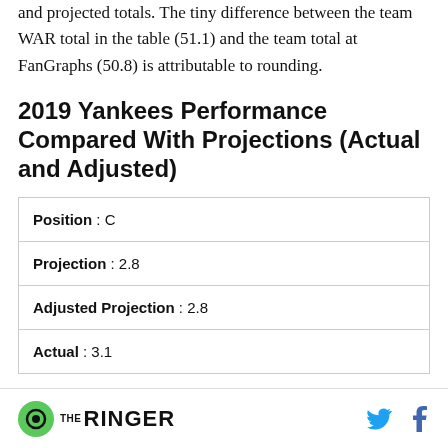and projected totals. The tiny difference between the team WAR total in the table (51.1) and the team total at FanGraphs (50.8) is attributable to rounding.
2019 Yankees Performance Compared With Projections (Actual and Adjusted)
| Position : C |
| Projection : 2.8 |
| Adjusted Projection : 2.8 |
| Actual : 3.1 |
THE RINGER